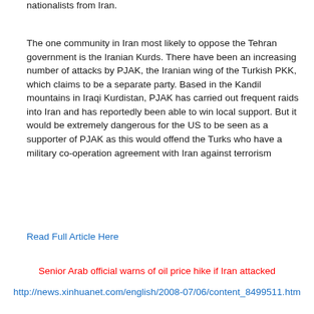nationalists from Iran.
The one community in Iran most likely to oppose the Tehran government is the Iranian Kurds. There have been an increasing number of attacks by PJAK, the Iranian wing of the Turkish PKK, which claims to be a separate party. Based in the Kandil mountains in Iraqi Kurdistan, PJAK has carried out frequent raids into Iran and has reportedly been able to win local support. But it would be extremely dangerous for the US to be seen as a supporter of PJAK as this would offend the Turks who have a military co-operation agreement with Iran against terrorism
Read Full Article Here
Senior Arab official warns of oil price hike if Iran attacked
http://news.xinhuanet.com/english/2008-07/06/content_8499511.htm